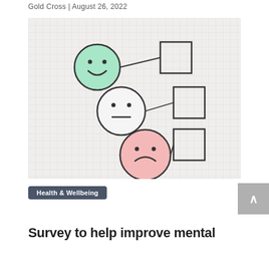Gold Cross | August 26, 2022
[Figure (photo): A hand-drawn feedback survey on grid paper showing three emoji faces: a green happy face, a neutral face, and a pink sad face, each next to empty checkbox squares. A red pen rests diagonally across the lower portion of the image.]
Health & Wellbeing
Survey to help improve mental